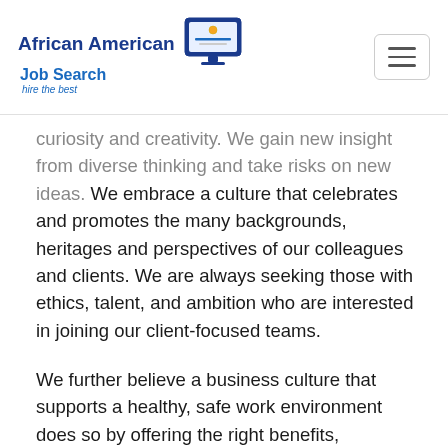African American Job Search — hire the best
curiosity and creativity. We gain new insight from diverse thinking and take risks on new ideas. We embrace a culture that celebrates and promotes the many backgrounds, heritages and perspectives of our colleagues and clients. We are always seeking those with ethics, talent, and ambition who are interested in joining our client-focused teams.
We further believe a business culture that supports a healthy, safe work environment does so by offering the right benefits, programs, policies and opportunities to keep colleagues engaged and productive including: a flexible, hybrid work environment, health and welfare, 401K, employee assistance program,